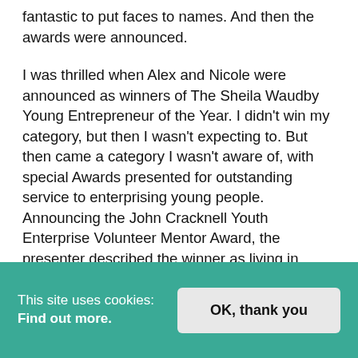fantastic to put faces to names. And then the awards were announced.
I was thrilled when Alex and Nicole were announced as winners of The Sheila Waudby Young Entrepreneur of the Year. I didn't win my category, but then I wasn't expecting to. But then came a category I wasn't aware of, with special Awards presented for outstanding service to enterprising young people. Announcing the John Cracknell Youth Enterprise Volunteer Mentor Award, the presenter described the winner as living in Devon... I realised it was me! I think I gave a little acceptance speech, I can't remember as I was in shock. And maybe on my fourth glass of fizz!
This site uses cookies: Find out more. OK, thank you